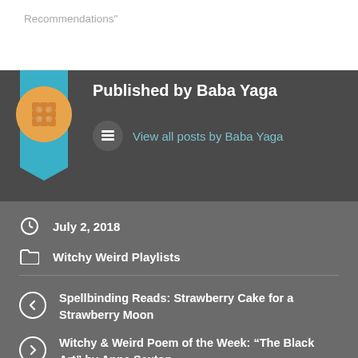Recommendations"
Published by Baba Yaga
View all posts by Baba Yaga
July 2, 2018
Witchy Weird Playlists
Spellbinding Reads: Strawberry Cake for a Strawberry Moon
Witchy & Weird Poem of the Week: “The Black Art” by Anne Sexton